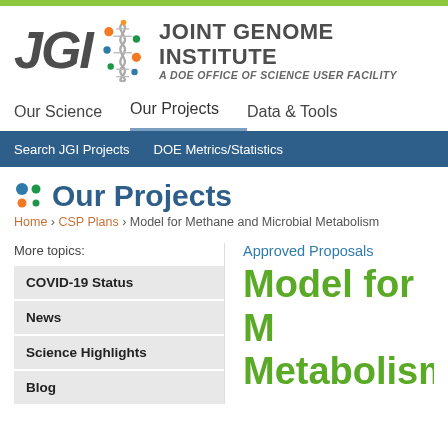[Figure (logo): JGI Joint Genome Institute logo with DNA helix icon and tagline 'A DOE OFFICE OF SCIENCE USER FACILITY']
Our Science | Our Projects | Data & Tools
Search JGI Projects | DOE Metrics/Statistics
Our Projects
Home › CSP Plans › Model for Methane and Microbial Metabolism
More topics:
COVID-19 Status
News
Science Highlights
Blog
Approved Proposals
Model for Methane and Microbial Metabolism